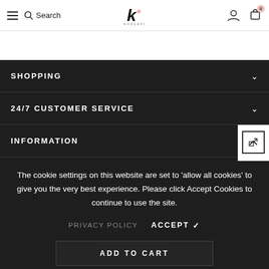Search | Kozcafi logo | User icon | Cart 0
SHOPPING
24/7 CUSTOMER SERVICE
INFORMATION
STAY CONNECTED
The cookie settings on this website are set to 'allow all cookies' to give you the very best experience. Please click Accept Cookies to continue to use the site.
PRIVACY POLICY   ACCEPT ✓
ADD TO CART